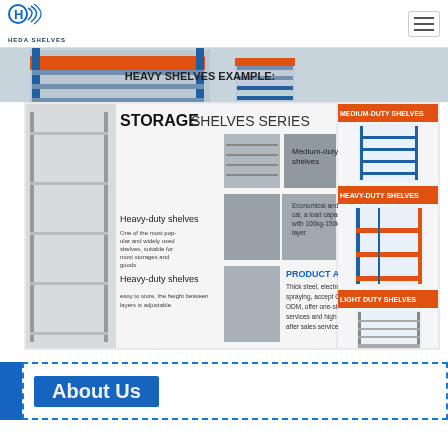HEDA SHELVES
[Figure (photo): Heavy shelves example banner showing orange and blue industrial shelving units with text 'HEAVY SHELVES EXAMPLE:']
[Figure (infographic): Storage Shelves Series infographic showing Heavy-duty shelves, Medium-duty shelves, product advantage text, and three product categories on right: Medium-Duty Shelves, Heavy-Duty Shelves, Light Duty Shelves with product images]
About Us